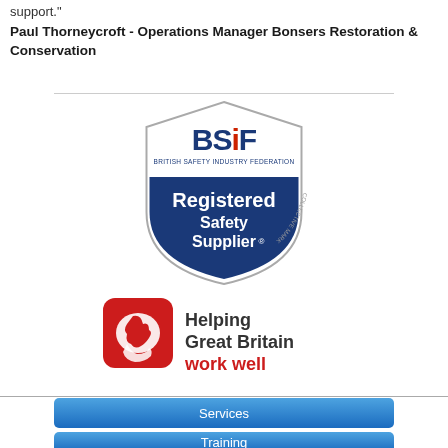support."
Paul Thorneycroft - Operations Manager Bonsers Restoration & Conservation
[Figure (logo): BSIF British Safety Industry Federation Registered Safety Supplier Collective Mark badge/shield logo in navy blue and white]
[Figure (logo): Helping Great Britain work well logo with red icon of hands and UK map]
Services
Training